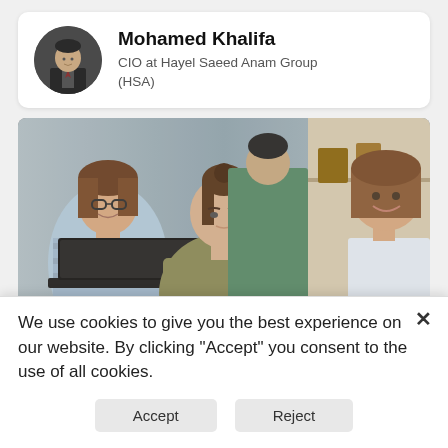[Figure (photo): Profile card with circular avatar photo of Mohamed Khalifa, a man in a suit]
Mohamed Khalifa
CIO at Hayel Saeed Anam Group (HSA)
[Figure (photo): Photo of three people (two women and one person in background) looking at a laptop screen in an educational/office setting]
We use cookies to give you the best experience on our website. By clicking "Accept" you consent to the use of all cookies.
Accept
Reject